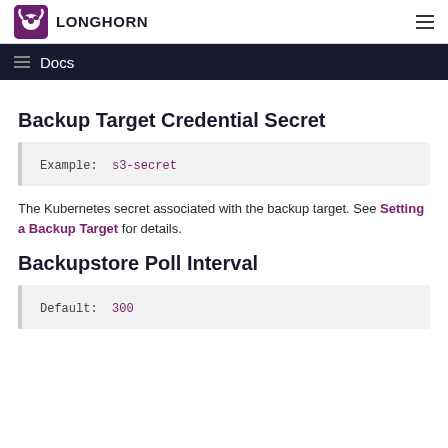LONGHORN
Docs
Backup Target Credential Secret
Example:  s3-secret
The Kubernetes secret associated with the backup target. See Setting a Backup Target for details.
Backupstore Poll Interval
Default:  300